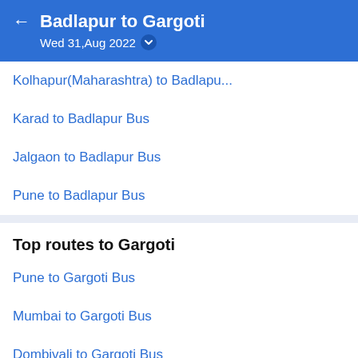Badlapur to Gargoti – Wed 31,Aug 2022
Kolhapur(Maharashtra) to Badlapu...
Karad to Badlapur Bus
Jalgaon to Badlapur Bus
Pune to Badlapur Bus
Top routes to Gargoti
Pune to Gargoti Bus
Mumbai to Gargoti Bus
Dombivali to Gargoti Bus
Ulhasnagar to Gargoti Bus
Top routes from Gargoti